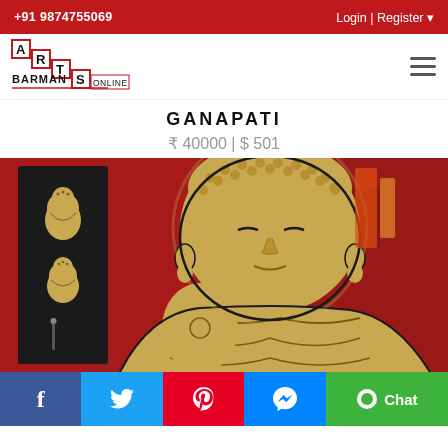+91 9874755069 | Login | Register
[Figure (logo): Arts Barman Online logo — staircase style letters A R T S in red/black with BARMAN ONLINE text]
GANAPATI
₹ 40000 | $ 501
[Figure (photo): Painting of Buddha figure with golden skin on red background, hand raised in blessing gesture, with smaller Buddha figures on black panel to the left]
f (Facebook share) | Twitter share | Pinterest share | Messenger share | Chat